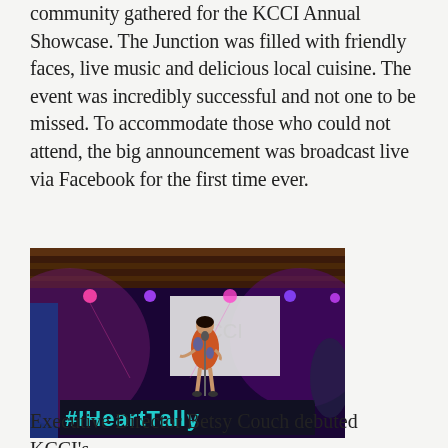community gathered for the KCCI Annual Showcase. The Junction was filled with friendly faces, live music and delicious local cuisine. The event was incredibly successful and not one to be missed. To accommodate those who could not attend, the big announcement was broadcast live via Facebook for the first time ever.
[Figure (photo): A woman in a floral dress speaking on stage at the KCCI Annual Showcase event. Stage lighting with purple/pink hues, a screen behind her showing 'KCCI', and a large '#IHeartTally' sign in teal letters at the front of the stage.]
Executive Director Betsy Couch debuted KCCI's